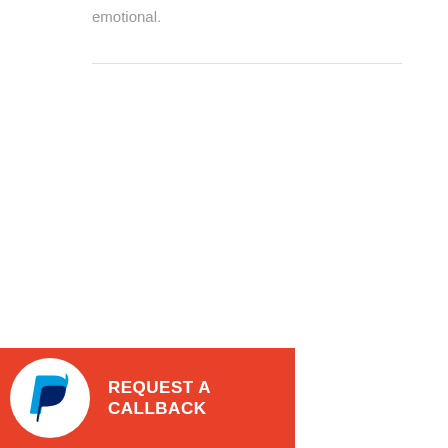emotional.
[Figure (logo): PayPal logo with REQUEST A CALLBACK text on red background banner]